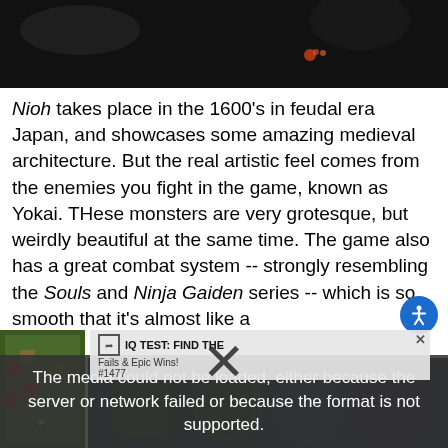[Figure (screenshot): Dark game screenshot showing a dimly lit scene from Nioh]
Nioh takes place in the 1600's in feudal era Japan, and showcases some amazing medieval architecture. But the real artistic feel comes from the enemies you fight in the game, known as Yokai. THese monsters are very grotesque, but weirdly beautiful at the same time. The game also has a great combat system -- strongly resembling the Souls and Ninja Gaiden series -- which is so smooth that it's almost like a
[Figure (screenshot): Game video thumbnail with green topdown game]
[Figure (screenshot): Ad overlay: IQ TEST: FIND THE - Fails & Epic Wins! #1477]
[Figure (screenshot): Media error overlay: The media could not be loaded, either because the server or network failed or because the format is not supported.]
[Figure (screenshot): Bottom banner image showing video game characters]